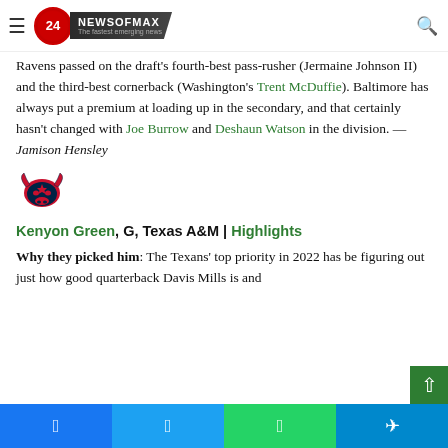NewsOfMax 24 — The fastest emerging news
Ravens passed on the draft's fourth-best pass-rusher (Jermaine Johnson II) and the third-best cornerback (Washington's Trent McDuffie). Baltimore has always put a premium at loading up in the secondary, and that certainly hasn't changed with Joe Burrow and Deshaun Watson in the division. — Jamison Hensley
[Figure (logo): Houston Texans NFL team logo — navy and red bull head icon]
Kenyon Green, G, Texas A&M | Highlights
Why they picked him: The Texans' top priority in 2022 has be figuring out just how good quarterback Davis Mills is and